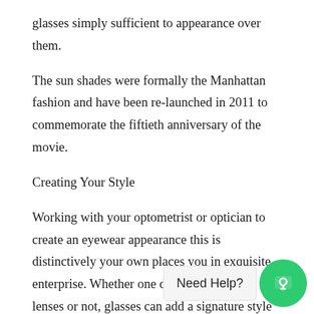glasses simply sufficient to appearance over them.
The sun shades were formally the Manhattan fashion and have been re-launched in 2011 to commemorate the fiftieth anniversary of the movie.
Creating Your Style
Working with your optometrist or optician to create an eyewear appearance this is distinctively your own places you in exquisite enterprise. Whether one desires corrective lenses or not, glasses can add a signature style to any fashion appearance.
To choose yours, begin with a primary eye examination. Just like your pores and skin, your eyes may be broken by the solar's UV rays, so pick out up a couple of flirty and a laugh sun shades, launch your inner geek sublime with le... th... help you see better. An annual eye exam will assist maintain your
[Figure (other): Chat widget overlay with 'Need Help?' label and green circular chat button with arrow icon]